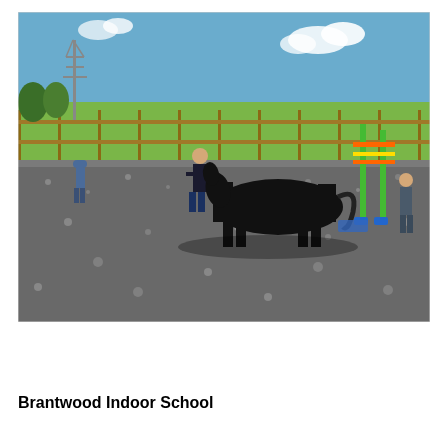[Figure (photo): Outdoor equestrian arena with gravel/rubber surface. A person in dark clothing leads a black horse across the arena. Another person stands to the left watching, and a third person stands near colorful jump poles on the right. Green paddock fencing and fields visible in the background under a blue sky with light clouds.]
Brantwood Indoor School